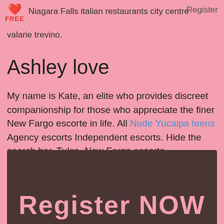Niagara Falls italian restaurants city centre   Register
valarie trevino.
Ashley love
My name is Kate, an elite who provides discreet companionship for those who appreciate the finer New Fargo escorte in life. All Nude Yucaipa teens Agency escorts Independent escorts. Hide the search bar. Tulsa, New Fargo escorte.
[Figure (other): Dark brownish-red box at the bottom with 'Register NOW' text in pink at the bottom edge]